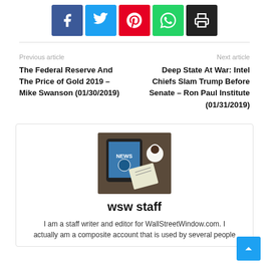[Figure (infographic): Social share buttons: Facebook (blue), Twitter (cyan), Pinterest (red), WhatsApp (green), Print (black)]
Previous article
The Federal Reserve And The Price of Gold 2019 – Mike Swanson (01/30/2019)
Next article
Deep State At War: Intel Chiefs Slam Trump Before Senate – Ron Paul Institute (01/31/2019)
[Figure (photo): Author avatar: tablet showing NEWS app with coffee cup on dark background]
wsw staff
I am a staff writer and editor for WallStreetWindow.com. I actually am a composite account that is used by several people